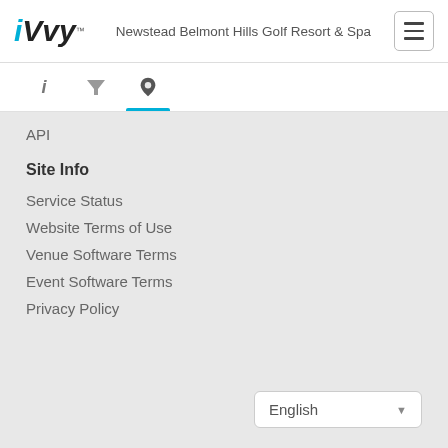[Figure (logo): iVvy logo with blue 'i' and black 'Vvy' text]
Newstead Belmont Hills Golf Resort & Spa
[Figure (other): Hamburger menu icon (three horizontal lines in a rounded rectangle border)]
[Figure (other): Tab bar with three icons: info (i), filter funnel, and map pin (active, with blue underline)]
API
Site Info
Service Status
Website Terms of Use
Venue Software Terms
Event Software Terms
Privacy Policy
English